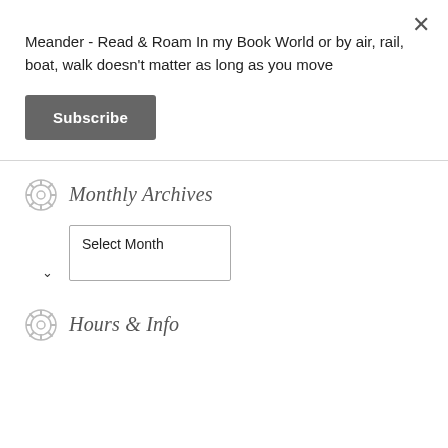Meander - Read & Roam In my Book World or by air, rail, boat, walk doesn't matter as long as you move
Subscribe
Monthly Archives
Select Month
Hours & Info